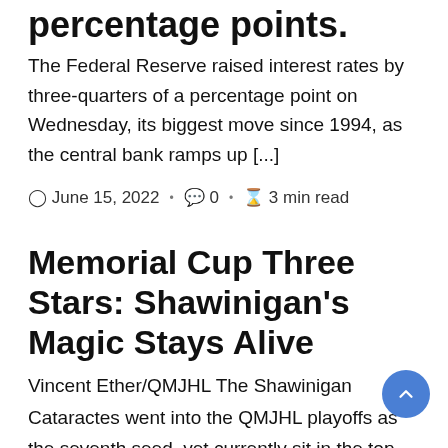percentage points.
The Federal Reserve raised interest rates by three-quarters of a percentage point on Wednesday, its biggest move since 1994, as the central bank ramps up [...]
June 15, 2022 · 0 · 3 min read
Memorial Cup Three Stars: Shawinigan's Magic Stays Alive
Vincent Ether/QMJHL The Shawinigan Cataractes went into the QMJHL playoffs as the seventh seed, yet currently sit in the top spot at the Memorial [...]